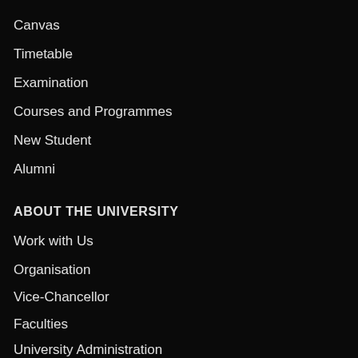Canvas
Timetable
Examination
Courses and Programmes
New Student
Alumni
ABOUT THE UNIVERSITY
Work with Us
Organisation
Vice-Chancellor
Faculties
University Administration
OUR PLAY PAGE